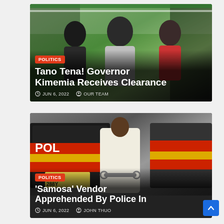[Figure (photo): Politicians at an event with green and white draping in the background]
Tano Tena! Governor Kimemia Receives Clearance
JUN 6, 2022  OUR TEAM
[Figure (photo): Person in white clothing in handcuffs standing in front of a Kenya Police vehicle with license plate GKB 288Y]
'Samosa' Vendor Apprehended By Police In
JUN 6, 2022  JOHN THUO